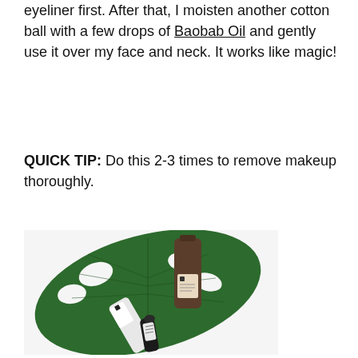eyeliner first. After that, I moisten another cotton ball with a few drops of Baobab Oil and gently use it over my face and neck. It works like magic!
QUICK TIP: Do this 2-3 times to remove makeup thoroughly.
[Figure (photo): Flatlay photo of skincare products including a brown glass bottle, a white tube, and a small dark roll-on bottle arranged on a white surface alongside a large green monstera leaf.]